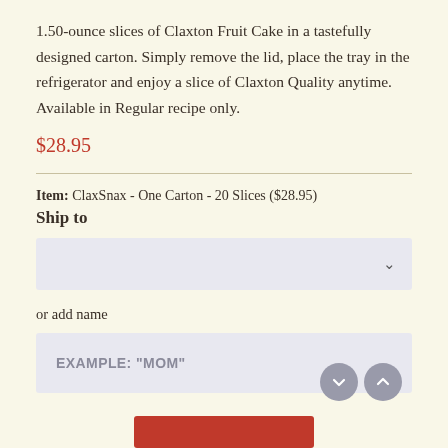1.50-ounce slices of Claxton Fruit Cake in a tastefully designed carton. Simply remove the lid, place the tray in the refrigerator and enjoy a slice of Claxton Quality anytime. Available in Regular recipe only.
$28.95
Item: ClaxSnax - One Carton - 20 Slices ($28.95)
Ship to
or add name
EXAMPLE: "MOM"